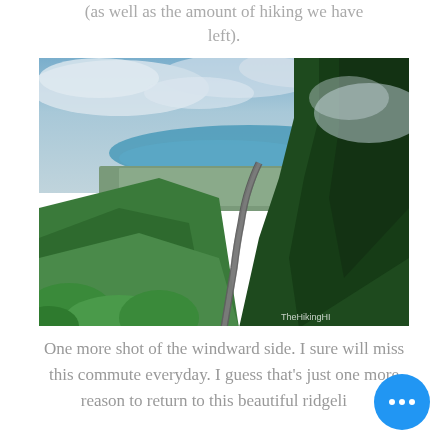(as well as the amount of hiking we have left).
[Figure (photo): Aerial view from a lush green ridgeline overlooking the windward side of Oahu, Hawaii. A winding road cuts through dense tropical forest toward a coastal city and turquoise bay. Clouds fill the sky above. Watermark reads 'TheHikingHI'.]
One more shot of the windward side. I sure will miss this commute everyday. I guess that's just one more reason to return to this beautiful ridgeline.